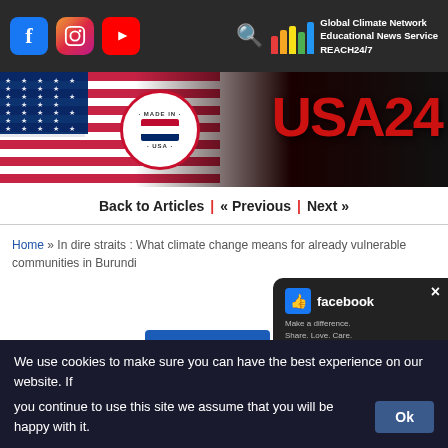Global Climate Network Educational News Service REACH24/7
[Figure (logo): USA24 banner with American flag and 'Made in USA' badge]
Back to Articles | « Previous | Next »
Home » In dire straits : What climate change means for already vulnerable communities in Burundi
[Figure (screenshot): Read the Full article button overlay and Facebook popup with close X button]
In dire straits : What climate change means
We use cookies to make sure you can have the best experience on our website. If you continue to use this site we assume that you will be happy with it.